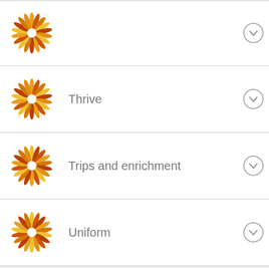[Figure (logo): Sunburst/starburst logo in orange, yellow, and brown tones]
[Figure (logo): Sunburst/starburst logo in orange, yellow, and brown tones]
Thrive
[Figure (logo): Sunburst/starburst logo in orange, yellow, and brown tones]
Trips and enrichment
[Figure (logo): Sunburst/starburst logo in orange, yellow, and brown tones]
Uniform